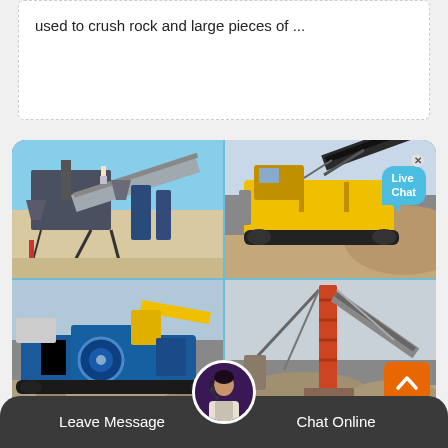used to crush rock and large pieces of ...
[Figure (photo): Grid of four photos showing rock crushing and mining machinery: top-left shows a large industrial conveyor/screening plant with a worker; top-right shows a yellow tracked mobile jaw crusher working on a gravel pile; bottom-left shows a blue mobile crusher tracked machine; bottom-right shows a tall steel conveyor tower structure at a quarry site. A 'Live Chat' speech bubble overlay appears on the top-right photo.]
Leave Message
Chat Online